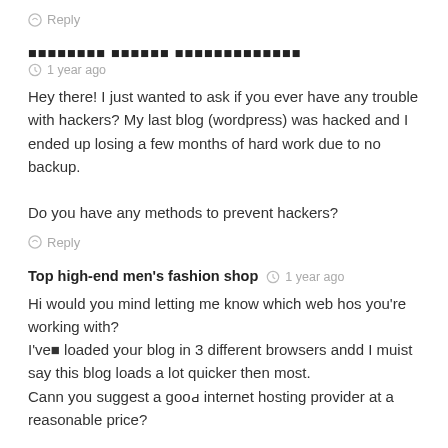Reply
████████ ██████ █████████████
1 year ago
Hey there! I just wanted to ask if you ever have any trouble with hackers? My last blog (wordpress) was hacked and I ended up losing a few months of hard work due to no backup.

Do you have any methods to prevent hackers?
Reply
Top high-end men's fashion shop
1 year ago
Hi would you mind letting me know which web hos you're working with?
I've loaded your blog in 3 different browsers andd I muist say this blog loads a lot quicker then most.
Cann you suggest a good internet hosting provider at a reasonable price?